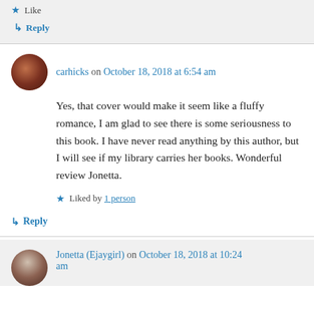Like
Reply
carhicks on October 18, 2018 at 6:54 am
Yes, that cover would make it seem like a fluffy romance, I am glad to see there is some seriousness to this book. I have never read anything by this author, but I will see if my library carries her books. Wonderful review Jonetta.
Liked by 1 person
Reply
Jonetta (Ejaygirl) on October 18, 2018 at 10:24 am